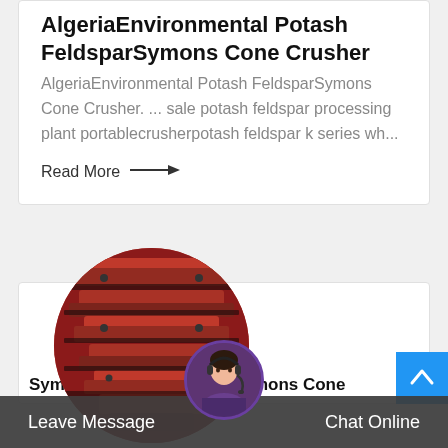AlgeriaEnvironmental Potash FeldsparSymons Cone Crusher
AlgeriaEnvironmental Potash FeldsparSymons Cone Crusher. ... sale potash feldspar processing plant portablecrusherpotash feldspar k series wh...
Read More →
[Figure (photo): Circular cropped photo of a red industrial Symons cone crusher machine]
[Figure (photo): Customer service agent with headset in a circular avatar]
Symons Cone Crus...BuySymons Cone
Leave Message
Chat Online